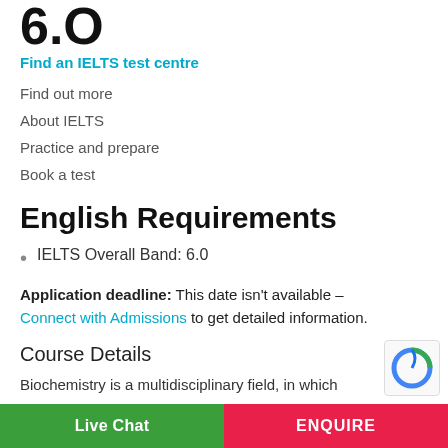6.0
Find an IELTS test centre
Find out more
About IELTS
Practice and prepare
Book a test
English Requirements
IELTS Overall Band: 6.0
Application deadline: This date isn't available – Connect with Admissions to get detailed information.
Course Details
Biochemistry is a multidisciplinary field, in which
Live Chat | ENQUIRE